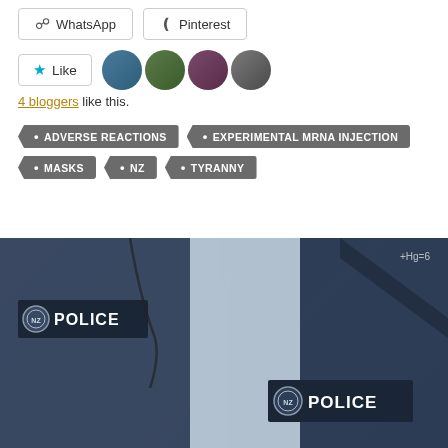WhatsApp
Pinterest
Like
4 bloggers like this.
ADVERSE REACTIONS
EXPERIMENTAL MRNA INJECTION
MASKS
NZ
TYRANNY
[Figure (photo): Close-up photo of two police officers in dark navy blue uniforms with POLICE badges/emblems on their vests]